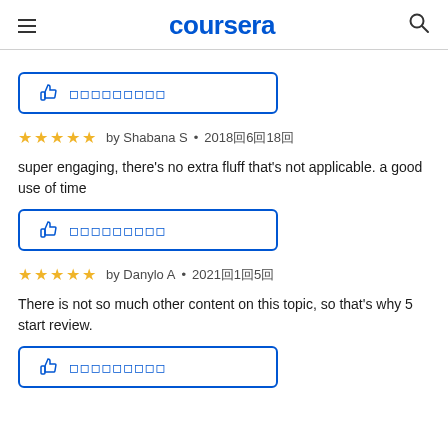coursera
[Figure (other): Helpful thumbs-up button with dotted text, blue border]
★★★★★ by Shabana S • 2018年6月18日
super engaging, there's no extra fluff that's not applicable. a good use of time
[Figure (other): Helpful thumbs-up button with dotted text, blue border]
★★★★★ by Danylo A • 2021年1月5日
There is not so much other content on this topic, so that's why 5 start review.
[Figure (other): Helpful thumbs-up button with dotted text, blue border]